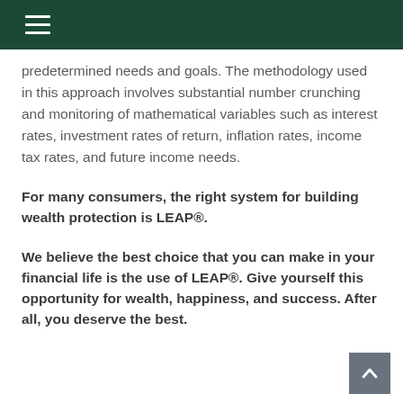predetermined needs and goals. The methodology used in this approach involves substantial number crunching and monitoring of mathematical variables such as interest rates, investment rates of return, inflation rates, income tax rates, and future income needs.
For many consumers, the right system for building wealth protection is LEAP®.
We believe the best choice that you can make in your financial life is the use of LEAP®. Give yourself this opportunity for wealth, happiness, and success. After all, you deserve the best.